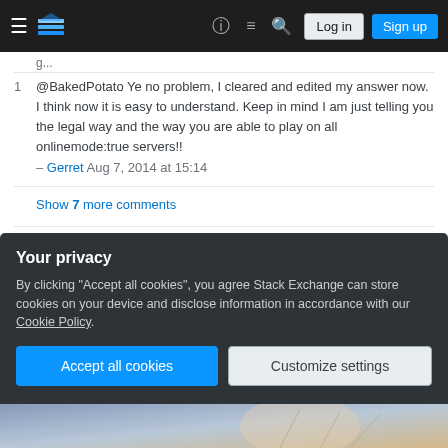Stack Exchange navigation bar with Log in and Sign up buttons
@BakedPotato Ye no problem, I cleared and edited my answer now. I think now it is easy to understand. Keep in mind I am just telling you the legal way and the way you are able to play on all onlinemode:true servers!! – Gerret Aug 7, 2014 at 15:14
Show 7 more comments
You must log in to answer this question.
Not the answer you're looking for? Browse other questions tagged minecraft-java-edition .
Your privacy
By clicking "Accept all cookies", you agree Stack Exchange can store cookies on your device and disclose information in accordance with our Cookie Policy.
Accept all cookies
Customize settings